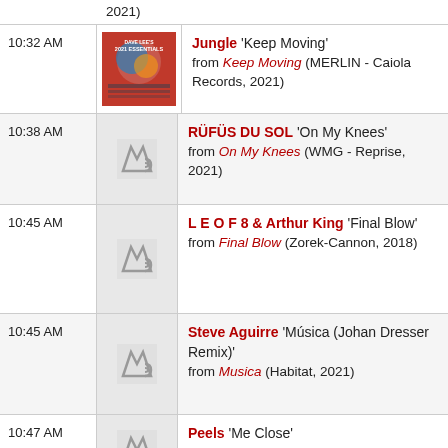2021)
10:32 AM — Jungle 'Keep Moving' from Keep Moving (MERLIN - Caiola Records, 2021)
10:38 AM — RÜFÜS DU SOL 'On My Knees' from On My Knees (WMG - Reprise, 2021)
10:45 AM — L E O F 8 & Arthur King 'Final Blow' from Final Blow (Zorek-Cannon, 2018)
10:45 AM — Steve Aguirre 'Música (Johan Dresser Remix)' from Musica (Habitat, 2021)
10:47 AM — Peels 'Me Close' from Me Close (Deep Insane, 2021)